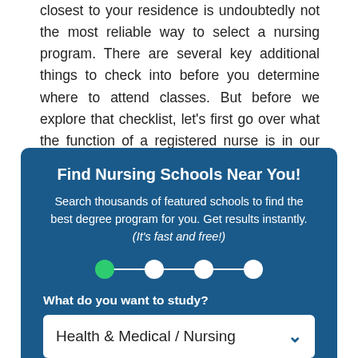closest to your residence is undoubtedly not the most reliable way to select a nursing program. There are several key additional things to check into before you determine where to attend classes. But before we explore that checklist, let’s first go over what the function of a registered nurse is in our medical care system, as well as the nursing degree choices that are available.
[Figure (infographic): A dark blue box with the title 'Find Nursing Schools Near You!', subtitle text, a step progress indicator with 4 dots (first green, rest white), a label 'What do you want to study?', and a dropdown showing 'Health & Medical / Nursing'.]